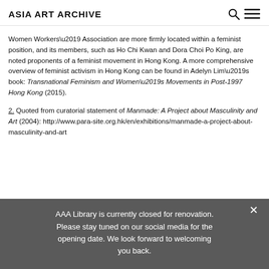ASIA ART ARCHIVE
Women Workers’ Association are more firmly located within a feminist position, and its members, such as Ho Chi Kwan and Dora Choi Po King, are noted proponents of a feminist movement in Hong Kong. A more comprehensive overview of feminist activism in Hong Kong can be found in Adelyn Lim’s book: Transnational Feminism and Women’s Movements in Post-1997 Hong Kong (2015).
2. Quoted from curatorial statement of Manmade: A Project about Masculinity and Art (2004): http://www.para-site.org.hk/en/exhibitions/manmade-a-project-about-masculinity-and-art
AAA Library is currently closed for renovation. Please stay tuned on our social media for the opening date. We look forward to welcoming you back.